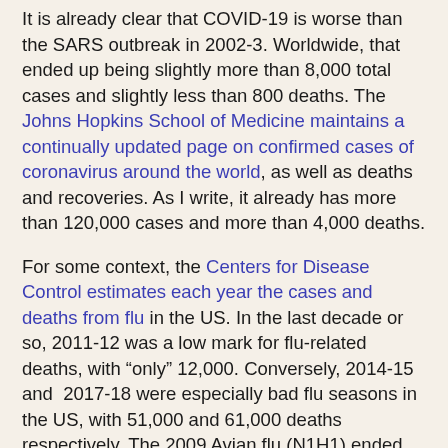It is already clear that COVID-19 is worse than the SARS outbreak in 2002-3. Worldwide, that ended up being slightly more than 8,000 total cases and slightly less than 800 deaths. The Johns Hopkins School of Medicine maintains a continually updated page on confirmed cases of coronavirus around the world, as well as deaths and recoveries. As I write, it already has more than 120,000 cases and more than 4,000 deaths.
For some context, the Centers for Disease Control estimates each year the cases and deaths from flu in the US. In the last decade or so, 2011-12 was a low mark for flu-related deaths, with "only" 12,000. Conversely, 2014-15 and 2017-18 were especially bad flu seasons in the US, with 51,000 and 61,000 deaths respectively. The 2009 Avian flu (N1H1) ended up causing between between 151,700 and 575,400 people deaths worldwide (according to Centers for Disease Control estimates), most of them in the US and Mexico.
Predicting the path of an epidemic is difficult. Baldwin and Weder di Mauro offer a useful diagram, showing that in the early stages, a straight-line prediction will dramatically